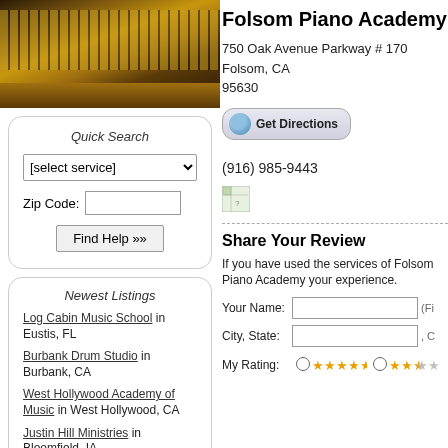[Figure (photo): Close-up photo of piano keys/strings with warm golden-brown tones]
Quick Search
[select service]
Zip Code:
Find Help »»
Newest Listings
Log Cabin Music School in Eustis, FL
Burbank Drum Studio in Burbank, CA
West Hollywood Academy of Music in West Hollywood, CA
Justin Hill Ministries in Bloomfield, IA
Academy of Music in Philadelphia, PA
Dennis Colby Studio in Villa Park, IL
Mike Mitchell Voice Studio in New York, NY
Findlay School of Music in Findlay, OH
Folsom Piano Academy
750 Oak Avenue Parkway # 170
Folsom, CA
95630
Get Directions
(916) 985-9443
[Figure (illustration): Small broken/placeholder image icon]
Share Your Review
If you have used the services of Folsom Piano Academy your experience.
Your Name:
City, State:
My Rating: